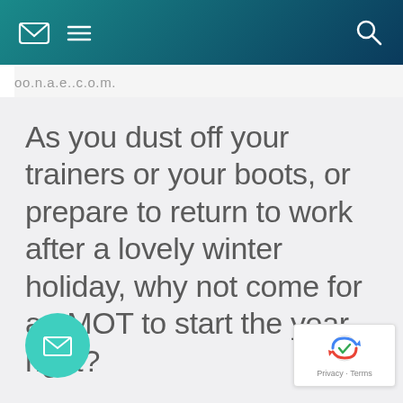[Navigation bar with email icon, hamburger menu, and search icon]
oo......  .........
As you dust off your trainers or your boots, or prepare to return to work after a lovely winter holiday, why not come for an MOT to start the year right?
[Figure (other): Teal circular FAB button with envelope/email icon]
[Figure (other): Google reCAPTCHA badge with Privacy and Terms links]